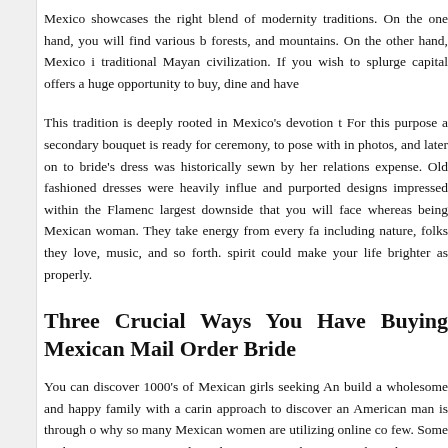Mexico showcases the right blend of modernity traditions. On the one hand, you will find various b forests, and mountains. On the other hand, Mexico i traditional Mayan civilization. If you wish to splurge capital offers a huge opportunity to buy, dine and have
This tradition is deeply rooted in Mexico's devotion t For this purpose a secondary bouquet is ready for ceremony, to pose with in photos, and later on to bride's dress was historically sewn by her relations expense. Old fashioned dresses were heavily influe and purported designs impressed within the Flamenc largest downside that you will face whereas being Mexican woman. They take energy from every fa including nature, folks they love, music, and so forth. spirit could make your life brighter as properly.
Three Crucial Ways You Have Buying Mexican Mail Order Bride
You can discover 1000's of Mexican girls seeking An build a wholesome and happy family with a carin approach to discover an American man is through o why so many Mexican women are utilizing online co few. Some wish to escape poor social conditions in M who want to have long-term relationships. Regar